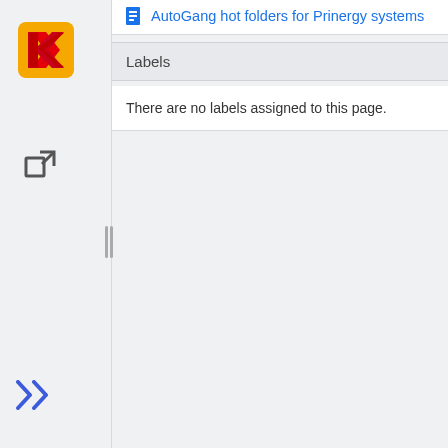[Figure (logo): Kodak logo — orange/yellow square with red double-K chevron icon]
[Figure (other): External link icon (square with arrow pointing out)]
AutoGang hot folders for Prinergy systems
Labels
There are no labels assigned to this page.
[Figure (other): Collapse/resize handle — two vertical bars]
[Figure (other): Double chevron >> navigation icon in blue]